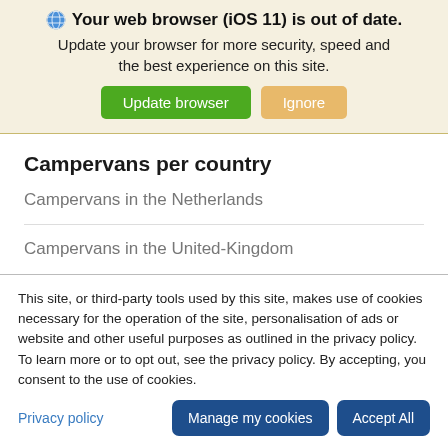Your web browser (iOS 11) is out of date.
Update your browser for more security, speed and the best experience on this site.
Update browser   Ignore
Campervans per country
Campervans in the Netherlands
Campervans in the United-Kingdom
This site, or third-party tools used by this site, makes use of cookies necessary for the operation of the site, personalisation of ads or website and other useful purposes as outlined in the privacy policy. To learn more or to opt out, see the privacy policy. By accepting, you consent to the use of cookies.
Privacy policy   Manage my cookies   Accept All